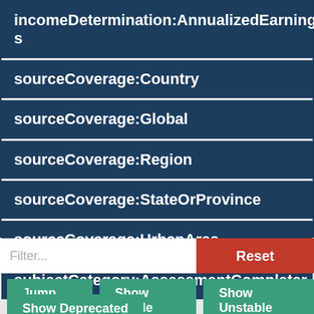incomeDetermination:AnnualizedEarnings
sourceCoverage:Country
sourceCoverage:Global
sourceCoverage:Region
sourceCoverage:StateOrProvince
sourceCoverage:UrbanArea
subjectCategory:AssessmentCompleter
Filter...
Reset
Jump To...
Show Stable
Show Unstable
Show Deprecated